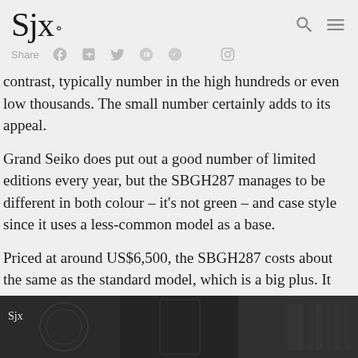SJx.
contrast, typically number in the high hundreds or even low thousands. The small number certainly adds to its appeal.
Grand Seiko does put out a good number of limited editions every year, but the SBGH287 manages to be different in both colour – it's not green – and case style since it uses a less-common model as a base.
Priced at around US$6,500, the SBGH287 costs about the same as the standard model, which is a big plus. It does, however, lack the bracelet that comes with the standard Hi-Beat "44GS". The special dial and limited number do make up for that.
[Figure (photo): Close-up photograph of a watch movement/dial with SJx watermark in the bottom left corner]